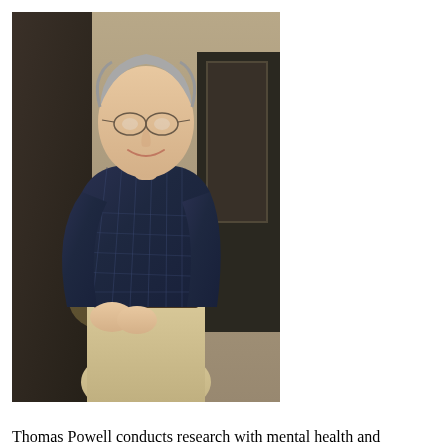[Figure (photo): Portrait photo of Thomas Powell, an older man with gray hair and glasses, wearing a dark navy plaid button-up shirt and khaki pants, smiling, standing indoors with a warm-lit background.]
Thomas Powell conducts research with mental health and substance use self-help groups. He has been an active